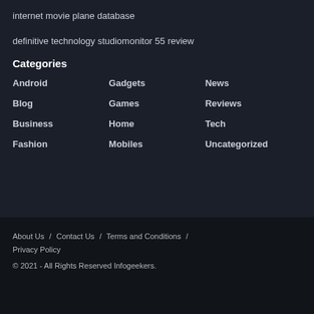internet movie plane database
definitive technology studiomonitor 55 review
Categories
Android
Gadgets
News
Blog
Games
Reviews
Business
Home
Tech
Fashion
Mobiles
Uncategorized
About Us / Contact Us / Terms and Conditions / Privacy Policy
© 2021 - All Rights Reserved Infogeekers.